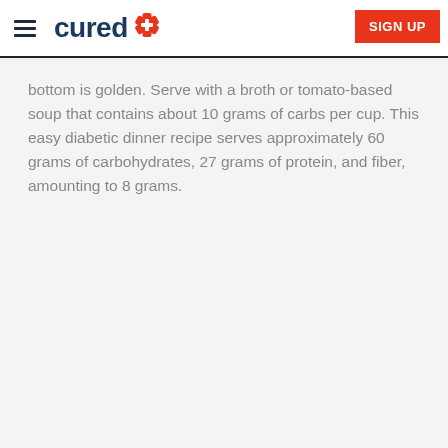cured [logo with medical star] | SIGN UP
bottom is golden. Serve with a broth or tomato-based soup that contains about 10 grams of carbs per cup. This easy diabetic dinner recipe serves approximately 60 grams of carbohydrates, 27 grams of protein, and fiber, amounting to 8 grams.